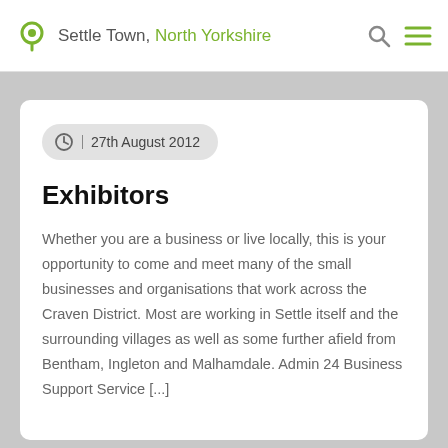Settle Town, North Yorkshire
27th August 2012
Exhibitors
Whether you are a business or live locally, this is your opportunity to come and meet many of the small businesses and organisations that work across the Craven District. Most are working in Settle itself and the surrounding villages as well as some further afield from Bentham, Ingleton and Malhamdale. Admin 24 Business Support Service [...]